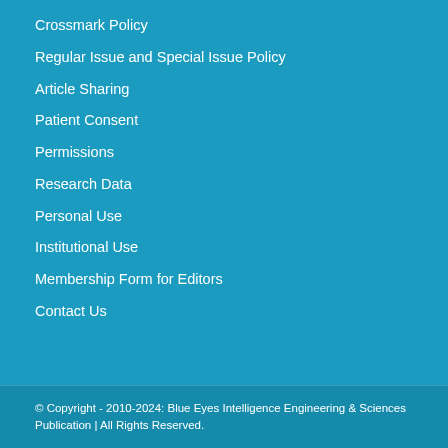Crossmark Policy
Regular Issue and Special Issue Policy
Article Sharing
Patient Consent
Permissions
Research Data
Personal Use
Institutional Use
Membership Form for Editors
Contact Us
© Copyright - 2010-2024: Blue Eyes Intelligence Engineering & Sciences Publication | All Rights Reserved.